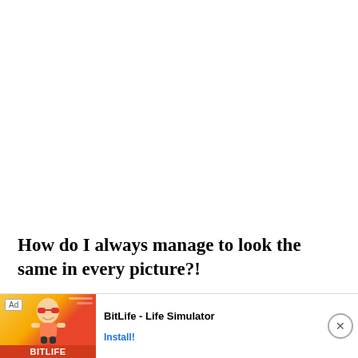How do I always manage to look the same in every picture?!
They are lined with velvet ribbon, so that they stay in place on your head without slipping. They are stretchy Boho Headbands, but remain a little...
[Figure (screenshot): Mobile advertisement banner for BitLife - Life Simulator app, showing a cartoon character on a red/orange background with BitLife logo, ad label, and Install button]